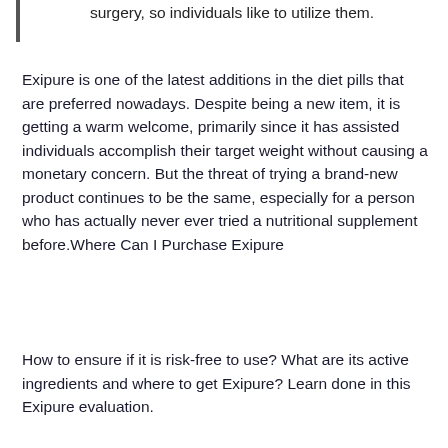surgery, so individuals like to utilize them.
Exipure is one of the latest additions in the diet pills that are preferred nowadays. Despite being a new item, it is getting a warm welcome, primarily since it has assisted individuals accomplish their target weight without causing a monetary concern. But the threat of trying a brand-new product continues to be the same, especially for a person who has actually never ever tried a nutritional supplement before.Where Can I Purchase Exipure
How to ensure if it is risk-free to use? What are its active ingredients and where to get Exipure? Learn done in this Exipure evaluation.